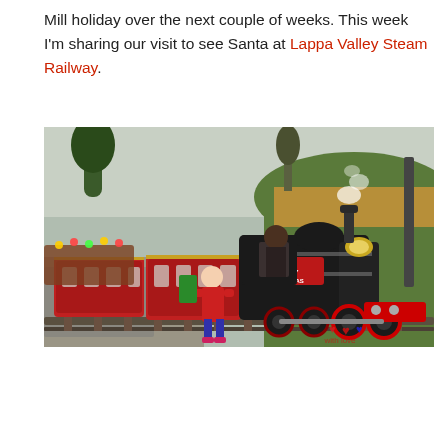Mill holiday over the next couple of weeks. This week I'm sharing our visit to see Santa at Lappa Valley Steam Railway.
[Figure (photo): A small black and red steam train at Lappa Valley Steam Railway decorated with 'Merry Christmas' sign. A young child in a red coat stands beside the engine. The train driver is visible in the cab. There are holiday lights, a wooden fence, green hills, and gravel paths visible in the background.]